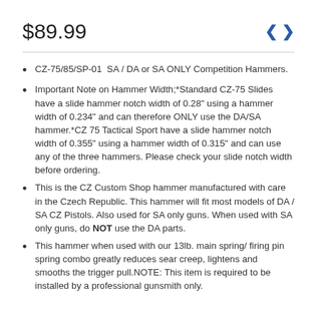$89.99
CZ-75/85/SP-01  SA / DA or SA ONLY Competition Hammers.
Important Note on Hammer Width;*Standard CZ-75 Slides have a slide hammer notch width of 0.28" using a hammer width of 0.234" and can therefore ONLY use the DA/SA hammer.*CZ 75 Tactical Sport have a slide hammer notch width of 0.355" using a hammer width of 0.315" and can use any of the three hammers. Please check your slide notch width before ordering.
This is the CZ Custom Shop hammer manufactured with care in the Czech Republic. This hammer will fit most models of DA / SA CZ Pistols. Also used for SA only guns. When used with SA only guns, do NOT use the DA parts.
This hammer when used with our 13lb. main spring/ firing pin spring combo greatly reduces sear creep, lightens and smooths the trigger pull.NOTE: This item is required to be installed by a professional gunsmith only.